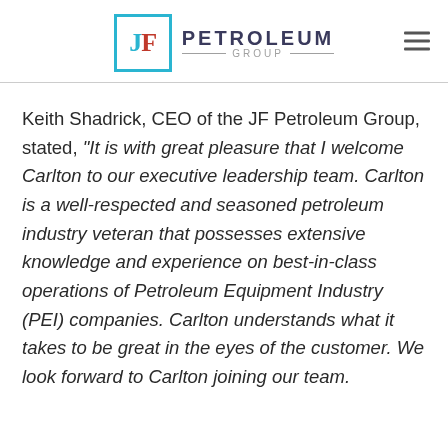[Figure (logo): JF Petroleum Group logo with teal-bordered box containing JF letters and company name]
Keith Shadrick, CEO of the JF Petroleum Group, stated, “It is with great pleasure that I welcome Carlton to our executive leadership team. Carlton is a well-respected and seasoned petroleum industry veteran that possesses extensive knowledge and experience on best-in-class operations of Petroleum Equipment Industry (PEI) companies. Carlton understands what it takes to be great in the eyes of the customer. We look forward to Carlton joining our team.